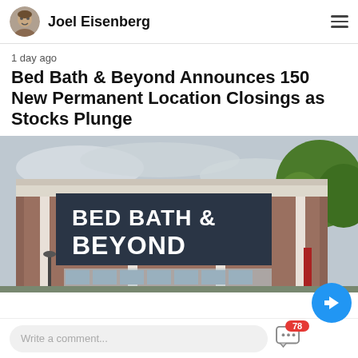Joel Eisenberg
1 day ago
Bed Bath & Beyond Announces 150 New Permanent Location Closings as Stocks Plunge
[Figure (photo): Exterior photo of a Bed Bath & Beyond retail store building with brick facade and large sign reading BED BATH & BEYOND, with trees visible on the right and overcast sky]
Write a comment...
78